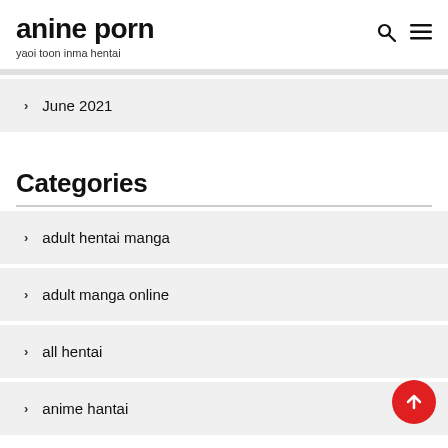anine porn
yaoi toon inma hentai
June 2021
Categories
adult hentai manga
adult manga online
all hentai
anime hantai